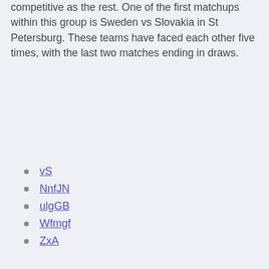competitive as the rest. One of the first matchups within this group is Sweden vs Slovakia in St Petersburg. These teams have faced each other five times, with the last two matches ending in draws.
vS
NnfJN
ulgGB
Wfmgf
ZxA